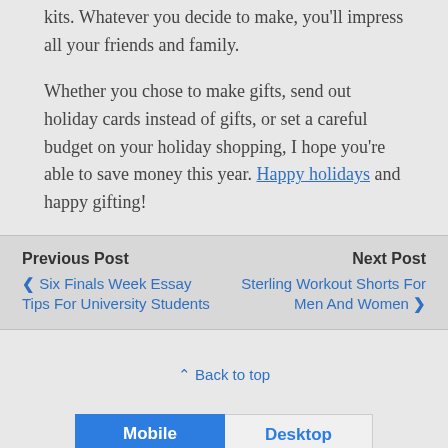kits. Whatever you decide to make, you'll impress all your friends and family.
Whether you chose to make gifts, send out holiday cards instead of gifts, or set a careful budget on your holiday shopping, I hope you're able to save money this year. Happy holidays and happy gifting!
Previous Post
‹ Six Finals Week Essay Tips For University Students
Next Post
Sterling Workout Shorts For Men And Women ›
⌃ Back to top
Mobile   Desktop